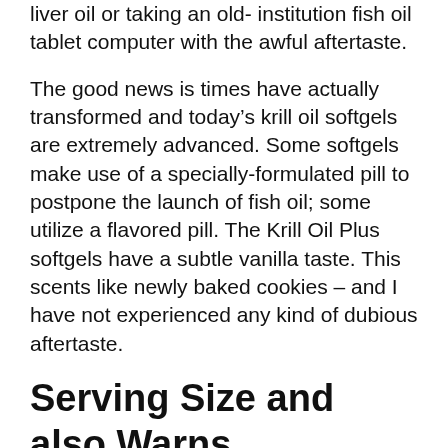liver oil or taking an old- institution fish oil tablet computer with the awful aftertaste.
The good news is times have actually transformed and today’s krill oil softgels are extremely advanced. Some softgels make use of a specially-formulated pill to postpone the launch of fish oil; some utilize a flavored pill. The Krill Oil Plus softgels have a subtle vanilla taste. This scents like newly baked cookies – and I have not experienced any kind of dubious aftertaste.
Serving Size and also Warns.
You must take one softgel of VitaPost Krill Oil Plus one or two times each day or as guided